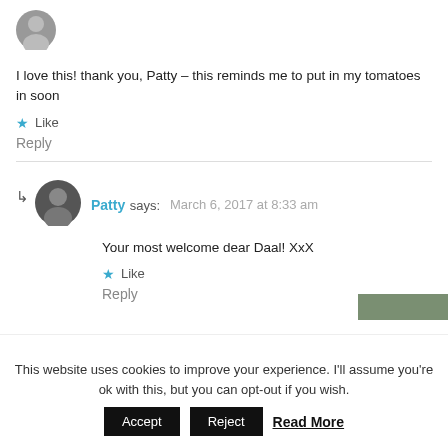[Figure (photo): Small circular avatar photo at top left]
I love this! thank you, Patty – this reminds me to put in my tomatoes in soon
★ Like
Reply
Patty says: March 6, 2017 at 8:33 am
Your most welcome dear Daal! XxX
★ Like
Reply
This website uses cookies to improve your experience. I'll assume you're ok with this, but you can opt-out if you wish.
Accept
Reject
Read More